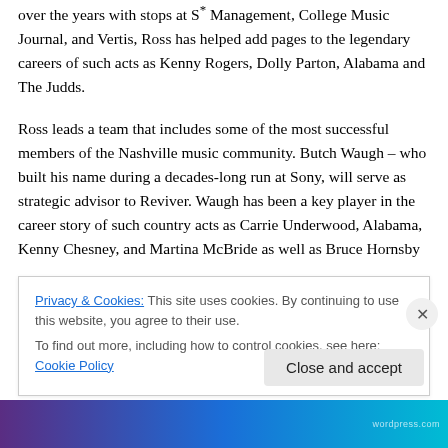over the years with stops at S* Management, College Music Journal, and Vertis, Ross has helped add pages to the legendary careers of such acts as Kenny Rogers, Dolly Parton, Alabama and The Judds.
Ross leads a team that includes some of the most successful members of the Nashville music community. Butch Waugh – who built his name during a decades-long run at Sony, will serve as strategic advisor to Reviver. Waugh has been a key player in the career story of such country acts as Carrie Underwood, Alabama, Kenny Chesney, and Martina McBride as well as Bruce Hornsby
Privacy & Cookies: This site uses cookies. By continuing to use this website, you agree to their use.
To find out more, including how to control cookies, see here: Cookie Policy